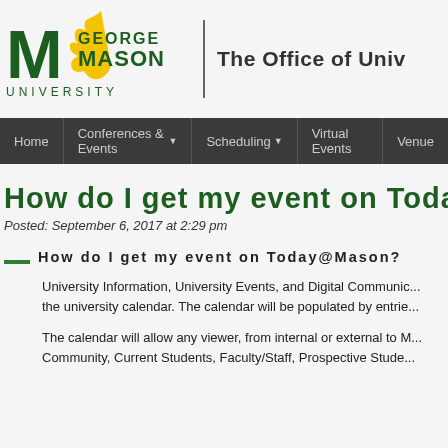[Figure (logo): George Mason University logo with green text and yellow flame]
The Office of Univ...
Home | Conferences & Events | Scheduling | Virtual Events | Venues
How do I get my event on Today@Ma...
Posted: September 6, 2017 at 2:29 pm
How do I get my event on Today@Mason?
University Information, University Events, and Digital Communic... the university calendar. The calendar will be populated by entrie...
The calendar will allow any viewer, from internal or external to M... Community, Current Students, Faculty/Staff, Prospective Stude...